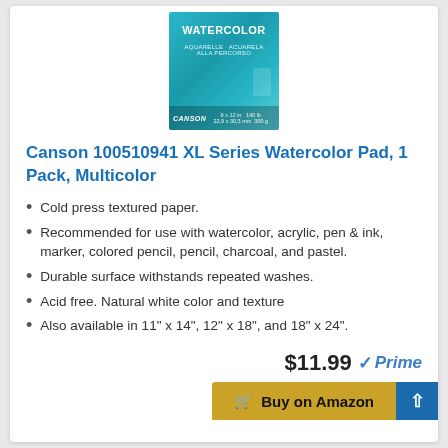[Figure (photo): Canson watercolor pad product photo with teal/blue packaging and WATERCOLOR text]
Canson 100510941 XL Series Watercolor Pad, 1 Pack, Multicolor
Cold press textured paper.
Recommended for use with watercolor, acrylic, pen & ink, marker, colored pencil, pencil, charcoal, and pastel.
Durable surface withstands repeated washes.
Acid free. Natural white color and texture
Also available in 11" x 14", 12" x 18", and 18" x 24".
$11.99 Prime
Buy on Amazon